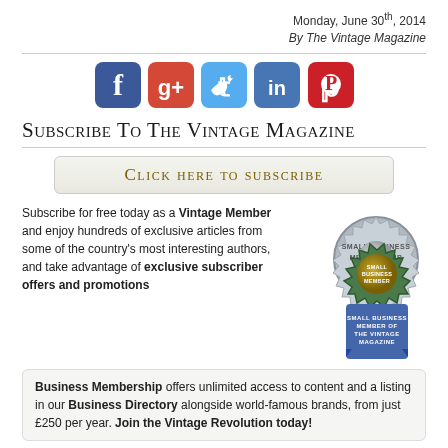Monday, June 30th, 2014
By The Vintage Magazine
[Figure (illustration): Social media icons: Facebook, Google+, Twitter, LinkedIn, Pinterest]
Subscribe To The Vintage Magazine
Click here to subscribe
Subscribe for free today as a Vintage Member and enjoy hundreds of exclusive articles from some of the country's most interesting authors, and take advantage of exclusive subscriber offers and promotions
[Figure (illustration): Small Business Member of The Vintage Magazine badge/seal]
Business Membership offers unlimited access to content and a listing in our Business Directory alongside world-famous brands, from just £250 per year. Join the Vintage Revolution today!